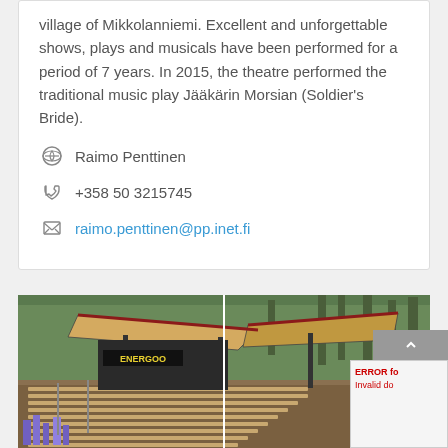village of Mikkolanniemi. Excellent and unforgettable shows, plays and musicals have been performed for a period of 7 years. In 2015, the theatre performed the traditional music play Jääkärin Morsian (Soldier's Bride).
Raimo Penttinen
+358 50 3215745
raimo.penttinen@pp.inet.fi
[Figure (photo): Outdoor theatre or amphitheatre with a large wooden roof/canopy structure supported by metal poles, wooden bench seating rows visible, surrounded by pine forest, purple flowers in foreground left, ENERGOO sign visible on stage area.]